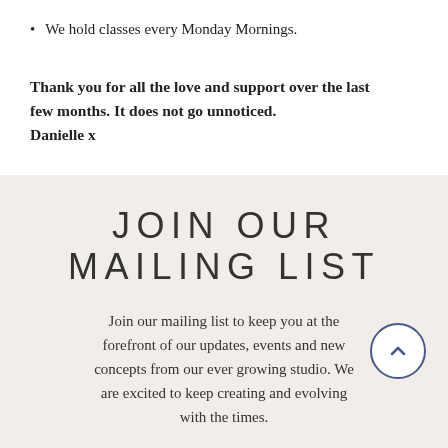We hold classes every Monday Mornings.
Thank you for all the love and support over the last few months. It does not go unnoticed.
Danielle x
JOIN OUR MAILING LIST
Join our mailing list to keep you at the forefront of our updates, events and new concepts from our ever growing studio. We are excited to keep creating and evolving with the times.
First Name